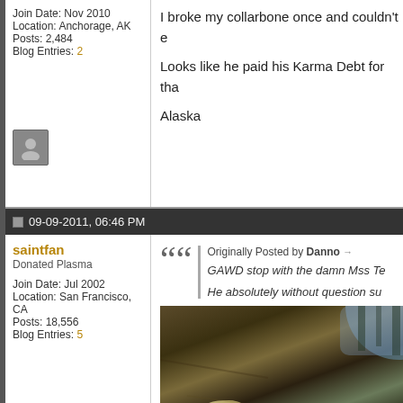Join Date: Nov 2010
Location: Anchorage, AK
Posts: 2,484
Blog Entries: 2
I broke my collarbone once and couldn't e

Looks like he paid his Karma Debt for tha

Alaska
[Figure (other): User avatar icon placeholder (grey square with person silhouette)]
09-09-2011, 06:46 PM
saintfan
Donated Plasma
Join Date: Jul 2002
Location: San Francisco, CA
Posts: 18,556
Blog Entries: 5
Originally Posted by Danno
GAWD stop with the damn Mss Te
He absolutely without question su
[Figure (photo): Outdoor photo showing ground covered with moss/debris, some light-colored objects visible, trees/sky in background]